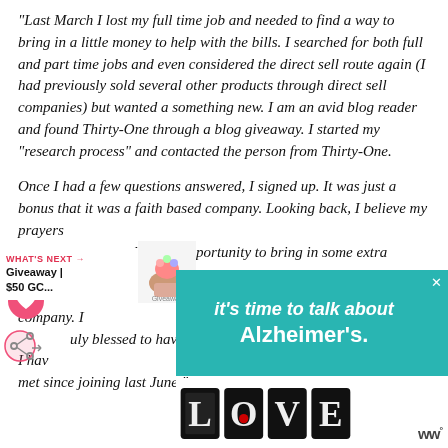“Last March I lost my full time job and needed to find a way to bring in a little money to help with the bills. I searched for both full and part time jobs and even considered the direct sell route again (I had previously sold several other products through direct sell companies) but wanted a something new. I am an avid blog reader and found Thirty-One through a blog giveaway. I started my “research process” and contacted the person from Thirty-One.

Once I had a few questions answered, I signed up. It was just a bonus that it was a faith based company. Looking back, I believe my prayers were answered for an opportunity to bring in some extra income but also meet other women through a wonderful and supportive company. I am truly blessed to have this company and the wonderful women I have met since joining last June.”
[Figure (infographic): Pink circular heart icon (save/like button)]
[Figure (infographic): Share icon with pink circle and share symbol]
[Figure (infographic): Black scroll-to-top button with up arrow on right edge]
WHAT'S NEXT →
Giveaway | $50 GC...
[Figure (infographic): Giveaway thumbnail image with colorful cupcakes/cookies illustration]
[Figure (infographic): Teal/turquoise advertisement banner: “it’s time to talk about Alzheimer’s”]
[Figure (infographic): LOVE text art advertisement with decorative black and white lettering]